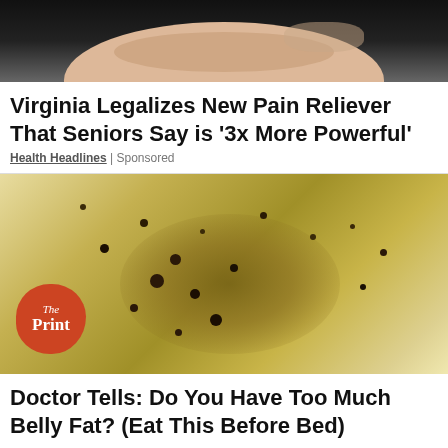[Figure (photo): Close-up photo showing fingers/hand against a dark background]
Virginia Legalizes New Pain Reliever That Seniors Say is '3x More Powerful'
Health Headlines | Sponsored
[Figure (photo): Close-up photo of a translucent yellowish substance covered in dark golden speckles being held between fingers, with a The Print logo badge in the bottom left corner]
Doctor Tells: Do You Have Too Much Belly Fat? (Eat This Before Bed)